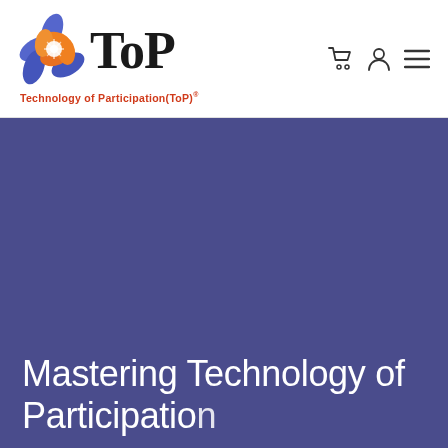[Figure (logo): Technology of Participation (ToP) logo with flower icon and bold ToP text, tagline reading Technology of Participation(ToP)®]
Mastering Technology of Participation